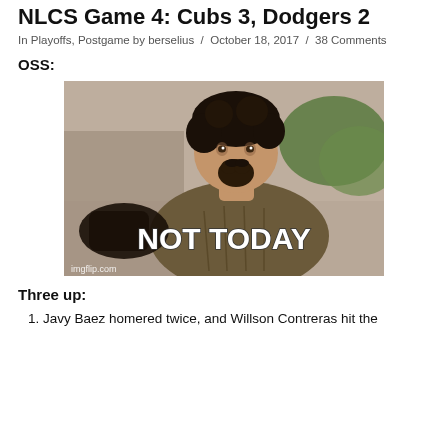NLCS Game 4: Cubs 3, Dodgers 2
In Playoffs, Postgame by berselius / October 18, 2017 / 38 Comments
OSS:
[Figure (photo): Meme image of a man with curly hair and beard in medieval costume with bold white text reading 'NOT TODAY' and watermark 'imgflip.com']
Three up:
1. Javy Baez homered twice, and Willson Contreras hit the